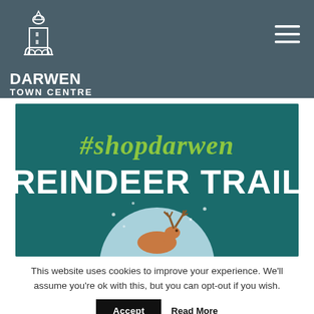DARWEN TOWN CENTRE
[Figure (illustration): #shopdarwen REINDEER TRAIL promotional banner with teal background, script hashtag text in yellow-green, bold white 'REINDEER TRAIL' text, and a reindeer silhouette in a snow globe at the bottom.]
This website uses cookies to improve your experience. We'll assume you're ok with this, but you can opt-out if you wish.
Accept   Read More